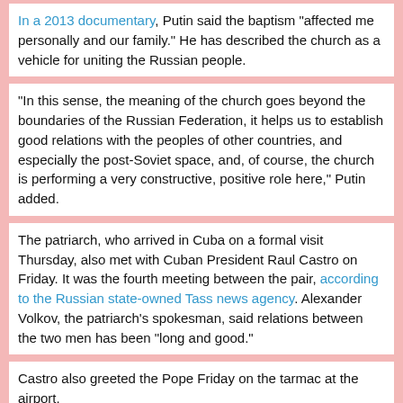In a 2013 documentary, Putin said the baptism "affected me personally and our family." He has described the church as a vehicle for uniting the Russian people.
"In this sense, the meaning of the church goes beyond the boundaries of the Russian Federation, it helps us to establish good relations with the peoples of other countries, and especially the post-Soviet space, and, of course, the church is performing a very constructive, positive role here," Putin added.
The patriarch, who arrived in Cuba on a formal visit Thursday, also met with Cuban President Raul Castro on Friday. It was the fourth meeting between the pair, according to the Russian state-owned Tass news agency. Alexander Volkov, the patriarch's spokesman, said relations between the two men has been "long and good."
Castro also greeted the Pope Friday on the tarmac at the airport.
CONTRIBUTING: Associated Press